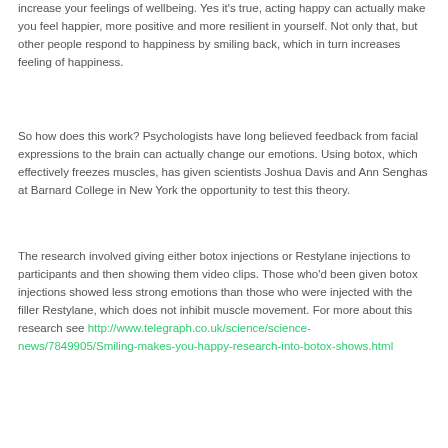increase your feelings of wellbeing. Yes it's true, acting happy can actually make you feel happier, more positive and more resilient in yourself. Not only that, but other people respond to happiness by smiling back, which in turn increases feeling of happiness.
So how does this work? Psychologists have long believed feedback from facial expressions to the brain can actually change our emotions. Using botox, which effectively freezes muscles, has given scientists Joshua Davis and Ann Senghas at Barnard College in New York the opportunity to test this theory.
The research involved giving either botox injections or Restylane injections to participants and then showing them video clips. Those who'd been given botox injections showed less strong emotions than those who were injected with the filler Restylane, which does not inhibit muscle movement. For more about this research see http://www.telegraph.co.uk/science/science-news/7849905/Smiling-makes-you-happy-research-into-botox-shows.html